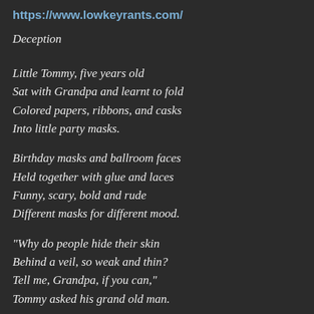https://www.lowkeyrants.com/
Deception
Little Tommy, five years old
Sat with Grandpa and learnt to fold
Colored papers, ribbons, and casks
Into little party masks.
Birthday masks and ballroom faces
Held together with glue and laces
Funny, scary, bold and rude
Different masks for different mood.
"Why do people hide their skin
Behind a veil, so weak and thin?
Tell me, Grandpa, if you can,"
Tommy asked his grand old man.